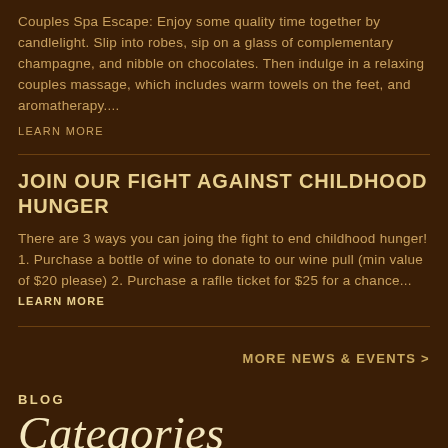Couples Spa Escape: Enjoy some quality time together by candlelight. Slip into robes, sip on a glass of complementary champagne, and nibble on chocolates. Then indulge in a relaxing couples massage, which includes warm towels on the feet, and aromatherapy.... LEARN MORE
JOIN OUR FIGHT AGAINST CHILDHOOD HUNGER
There are 3 ways you can joing the fight to end childhood hunger! 1. Purchase a bottle of wine to donate to our wine pull (min value of $20 please) 2. Purchase a raflle ticket for $25 for a chance... LEARN MORE
MORE NEWS & EVENTS >
BLOG
Categories